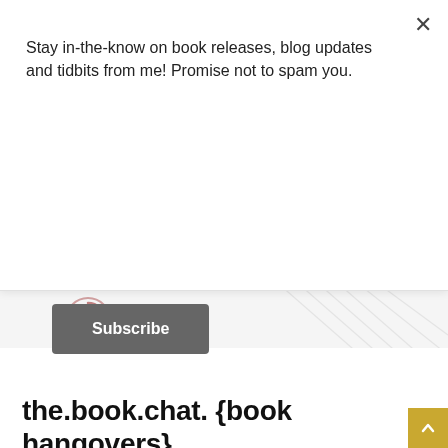Stay in-the-know on book releases, blog updates and tidbits from me! Promise not to spam you.
Subscribe
[Figure (screenshot): Divider area with a circular icon (play/pause button outline) on the left and diagonal watermark lines on the right, on a light gray background]
BOOKS
the.book.chat. {book hangovers}
by Jessica Bucher  May 02, 2013